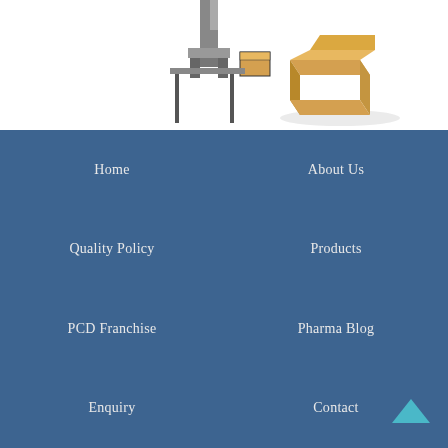[Figure (illustration): Partial view of an isometric illustration showing robotic/mechanical equipment and a cardboard box, cropped at top of page]
Home
About Us
Quality Policy
Products
PCD Franchise
Pharma Blog
Enquiry
Contact